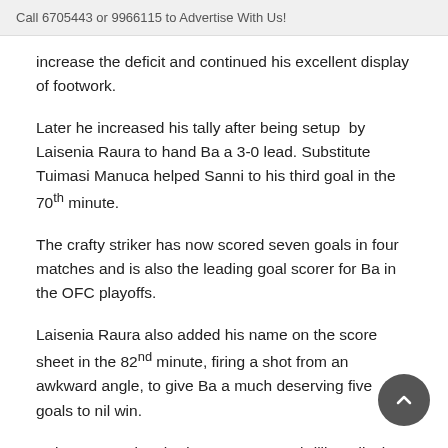Call 6705443 or 9966115 to Advertise With Us!
increase the deficit and continued his excellent display of footwork.
Later he increased his tally after being setup by Laisenia Raura to hand Ba a 3-0 lead. Substitute Tuimasi Manuca helped Sanni to his third goal in the 70th minute.
The crafty striker has now scored seven goals in four matches and is also the leading goal scorer for Ba in the OFC playoffs.
Laisenia Raura also added his name on the score sheet in the 82nd minute, firing a shot from an awkward angle, to give Ba a much deserving five goals to nil win.
Solomon Warriors had no answer to a brilliant display of football by the Ba players.